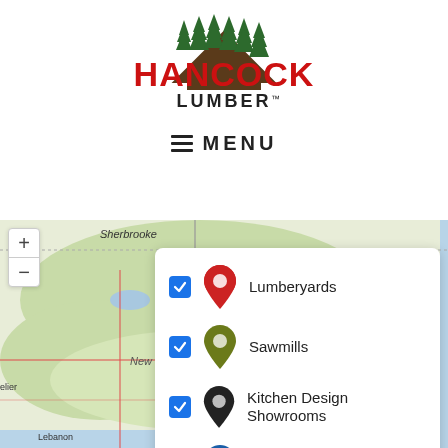[Figure (logo): Hancock Lumber logo with pine trees and red text]
≡  MENU
[Figure (map): Map of northeastern US (New Hampshire, Vermont, Maine area) with legend showing Lumberyards, Sawmills, Kitchen Design Showrooms, and Other location markers]